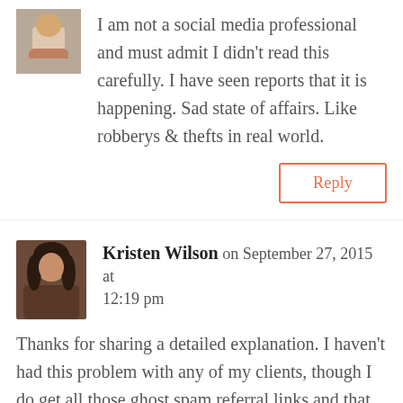[Figure (photo): Small avatar photo of commenter, partially visible at top]
I am not a social media professional and must admit I didn't read this carefully. I have seen reports that it is happening. Sad state of affairs. Like robberys & thefts in real world.
Reply
[Figure (photo): Avatar photo of Kristen Wilson, a woman with dark hair]
Kristen Wilson on September 27, 2015 at 12:19 pm
Thanks for sharing a detailed explanation. I haven't had this problem with any of my clients, though I do get all those ghost spam referral links and that drives me crazy. Hope you are able to get to the bottom of it. good luck with